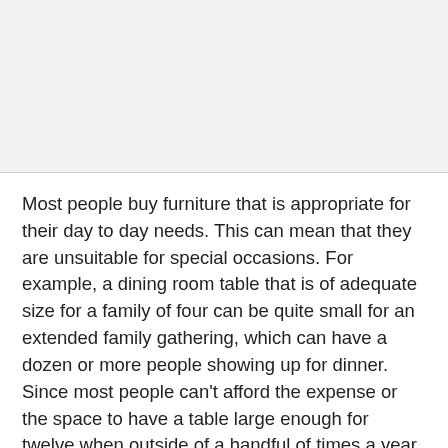[Figure (other): Gray blank area at top of page, separated by a horizontal rule]
Most people buy furniture that is appropriate for their day to day needs. This can mean that they are unsuitable for special occasions. For example, a dining room table that is of adequate size for a family of four can be quite small for an extended family gathering, which can have a dozen or more people showing up for dinner. Since most people can't afford the expense or the space to have a table large enough for twelve when outside of a handful of times a year only four people are using it, alternative seating arrangements must be found for the guests. A common solution (at least before the advent of tables with removable inserts) is to bring out a